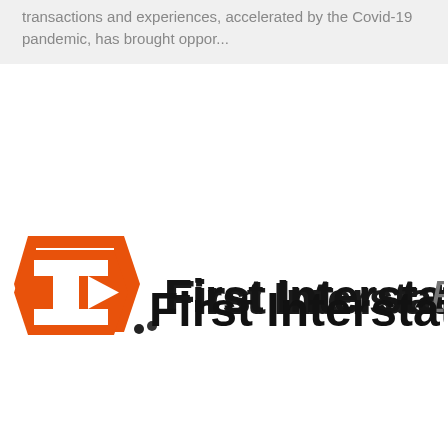transactions and experiences, accelerated by the Covid-19 pandemic, has brought oppor...
[Figure (logo): First Interstate BancSystem logo — orange shield/arrow icon followed by bold black 'First Interstate' and italic 'BancSystem' text]